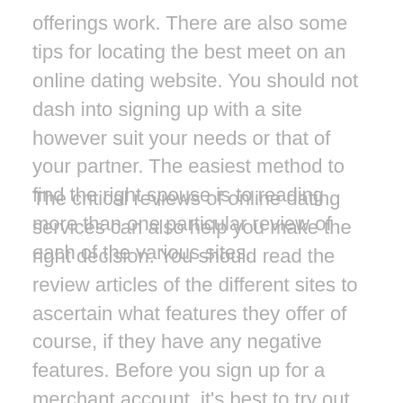offerings work. There are also some tips for locating the best meet on an online dating website. You should not dash into signing up with a site however suit your needs or that of your partner. The easiest method to find the right spouse is to reading more than one particular review of each of the various sites.
The critical reviews of online dating services can also help you make the right decision. You should read the review articles of the different sites to ascertain what features they offer of course, if they have any negative features. Before you sign up for a merchant account, it's best to try out several of them to obtain the right one that suits your needs and funds. Moreover, you should try not to hurry into registering for the first site that you just find.